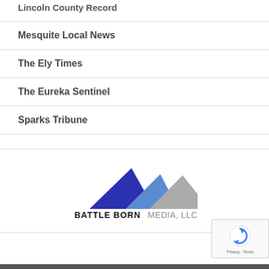Lincoln County Record
Mesquite Local News
The Ely Times
The Eureka Sentinel
Sparks Tribune
[Figure (logo): Battle Born Media LLC logo with mountain peaks in dark blue, light blue, and gray colors, with text BATTLE BORN in black bold and MEDIA, LLC in gray]
[Figure (other): reCAPTCHA badge with circular arrow icon and Privacy - Terms text]